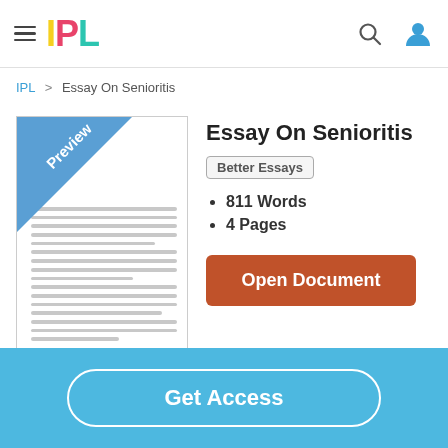IPL
IPL > Essay On Senioritis
Essay On Senioritis
Better Essays
811 Words
4 Pages
Open Document
[Figure (screenshot): Preview thumbnail of a document page with a blue diagonal 'Preview' banner in the top-left corner and placeholder horizontal lines representing text.]
Get Access